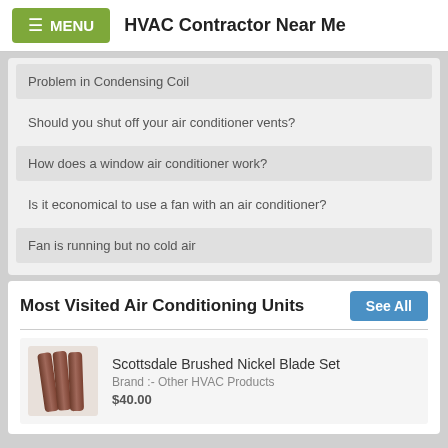MENU  HVAC Contractor Near Me
Problem in Condensing Coil
Should you shut off your air conditioner vents?
How does a window air conditioner work?
Is it economical to use a fan with an air conditioner?
Fan is running but no cold air
Most Visited Air Conditioning Units
Scottsdale Brushed Nickel Blade Set
Brand :- Other HVAC Products
$40.00